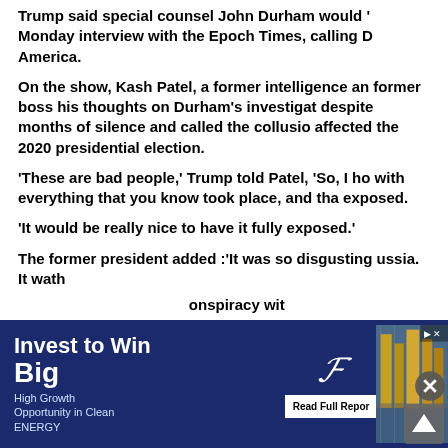Trump said special counsel John Durham would 'Monday interview with the Epoch Times, calling D America.
On the show, Kash Patel, a former intelligence an former boss his thoughts on Durham's investigat despite months of silence and called the collusio affected the 2020 presidential election.
'These are bad people,' Trump told Patel, 'So, I ho with everything that you know took place, and tha exposed.
'It would be really nice to have it fully exposed.'
The former president added :'It was so disgusting ussia. It wa conspiracy wit political enem
[Figure (infographic): Advertisement banner: 'Invest to Win Big' with High Growth Opportunity in Clean Energy subtext, Forbes logo, Read Full Report button, and industrial photo]